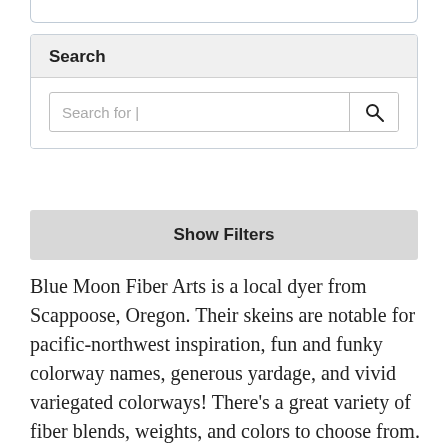Search
Search for |
Show Filters
Blue Moon Fiber Arts is a local dyer from Scappoose, Oregon. Their skeins are notable for pacific-northwest inspiration, fun and funky colorway names, generous yardage, and vivid variegated colorways! There's a great variety of fiber blends, weights, and colors to choose from. Coastal Yarns is proud to host five unique colorways hand dyed exclusively for our shop!
You can find these colorways in almost every base we